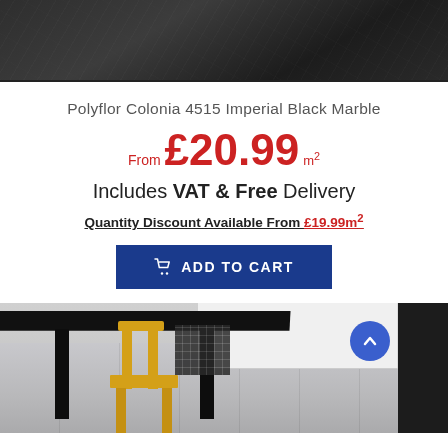[Figure (photo): Dark textured black marble flooring product image at the top]
Polyflor Colonia 4515 Imperial Black Marble
From £20.99 m²
Includes VAT & Free Delivery
Quantity Discount Available From £19.99m²
[Figure (other): ADD TO CART button in dark blue]
[Figure (photo): Room scene showing yellow chair and dark table on grey marble flooring]